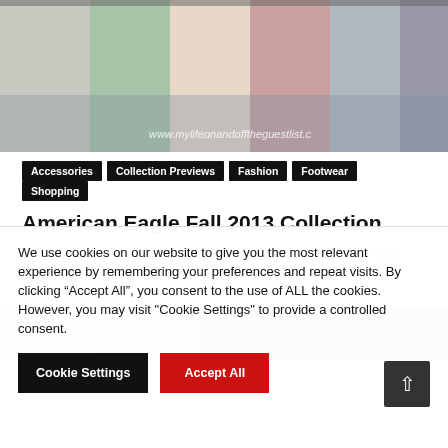[Figure (photo): Banner photo showing clothing items hanging on racks in a store, with watermark URL www.mylifeonandofftheguestlist.c]
Accessories
Collection Previews
Fashion
Footwear
Shopping
American Eagle Fall 2013 Collection
The phrase, “it’s all in the details” have never been truer than what we see in the American Eagle Fall 2013 Collection. Combining a bit...
[Figure (photo): Partial photo, appears to show a person, partially obscured by cookie consent overlay]
We use cookies on our website to give you the most relevant experience by remembering your preferences and repeat visits. By clicking “Accept All”, you consent to the use of ALL the cookies. However, you may visit "Cookie Settings" to provide a controlled consent.